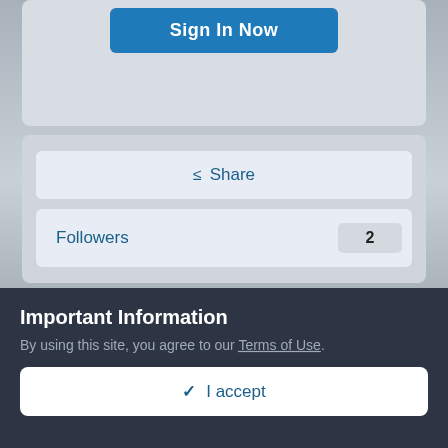[Figure (screenshot): Blue Sign In Now button on a light gray card background, partially cut off at top]
Share
Followers 2
Go to topic listing
Privacy Policy   Contact Us   Copyright© Mincoinforum.com   Mincoin Forums
Important Information
By using this site, you agree to our Terms of Use.
I accept